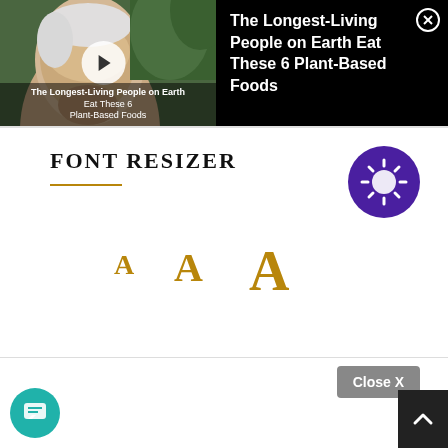[Figure (screenshot): Video thumbnail showing an elderly woman's face with a play button overlay. Text overlay reads 'The Longest-Living People on Earth Eat These 6 Plant-Based Foods'. Black panel on the right shows the same title text in white, with an X close button.]
FONT RESIZER
[Figure (infographic): Three letter A's in increasing sizes, colored in golden/tan, representing font size options.]
[Figure (screenshot): Close X button (gray/white rounded rectangle) and a dark back-to-top arrow button in lower right, plus a teal chat bubble button in lower left.]